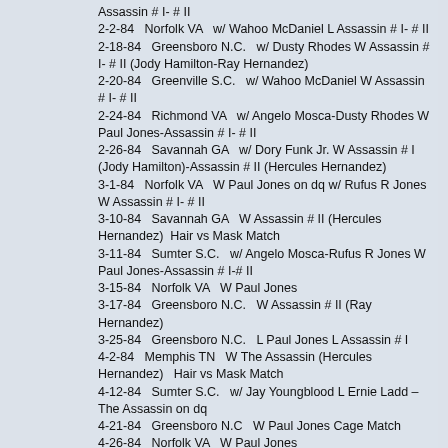Assassin # I- # II
2-2-84   Norfolk VA   w/ Wahoo McDaniel L Assassin # I- # II
2-18-84   Greensboro N.C.   w/ Dusty Rhodes W Assassin # I- # II (Jody Hamilton-Ray Hernandez)
2-20-84   Greenville S.C.   w/ Wahoo McDaniel W Assassin # I- # II
2-24-84   Richmond VA   w/ Angelo Mosca-Dusty Rhodes W Paul Jones-Assassin # I- # II
2-26-84   Savannah GA   w/ Dory Funk Jr. W Assassin # I (Jody Hamilton)-Assassin # II (Hercules Hernandez)
3-1-84   Norfolk VA   W Paul Jones on dq w/ Rufus R Jones W Assassin # I- # II
3-10-84   Savannah GA   W Assassin # II (Hercules Hernandez)  Hair vs Mask Match
3-11-84   Sumter S.C.   w/ Angelo Mosca-Rufus R Jones W Paul Jones-Assassin # I-# II
3-15-84   Norfolk VA   W Paul Jones
3-17-84   Greensboro N.C.   W Assassin # II (Ray Hernandez)
3-25-84   Greensboro N.C.   L Paul Jones L Assassin # I
4-2-84   Memphis TN   W The Assassin (Hercules Hernandez)   Hair vs Mask Match
4-12-84   Sumter S.C.   w/ Jay Youngblood L Ernie Ladd –The Assassin on dq
4-21-84   Greensboro N.C   W Paul Jones Cage Match
4-26-84   Norfolk VA   W Paul Jones
5-10-84   Norfolk VA   L Dick Slater
5-19-84   Greensboro N.C.   W Adrian Street
6-21-84   Norfolk VA   W Assassin # I
6-23-84   Toronto Canada   w/ Angelo Mosca-Buzz Sawyer W Paul Jones-Kamala-The Assassin
6-24-84   Memphis TN   W Dick Dude (c) on dq